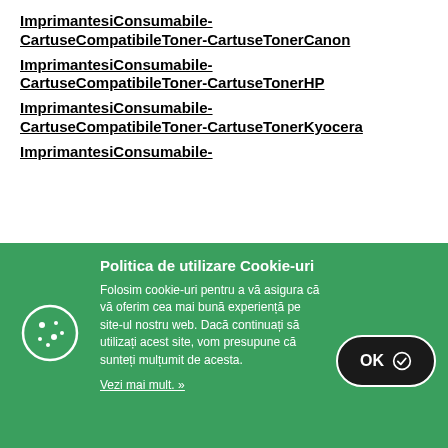ImprimantesiConsumabile-CartuseCompatibileToner-CartuseTonerCanon
ImprimantesiConsumabile-CartuseCompatibileToner-CartuseTonerHP
ImprimantesiConsumabile-CartuseCompatibileToner-CartuseTonerKyocera
ImprimantesiConsumabile-
Politica de utilizare Cookie-uri
Folosim cookie-uri pentru a vă asigura că vă oferim cea mai bună experiență pe site-ul nostru web. Dacă continuați să utilizați acest site, vom presupune că sunteți mulțumit de acesta.
Vezi mai mult. »